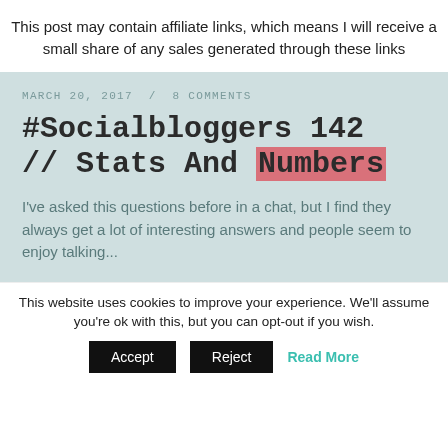This post may contain affiliate links, which means I will receive a small share of any sales generated through these links
MARCH 20, 2017 / 8 COMMENTS
#Socialbloggers 142 // Stats And Numbers
I've asked this questions before in a chat, but I find they always get a lot of interesting answers and people seem to enjoy talking...
This website uses cookies to improve your experience. We'll assume you're ok with this, but you can opt-out if you wish.